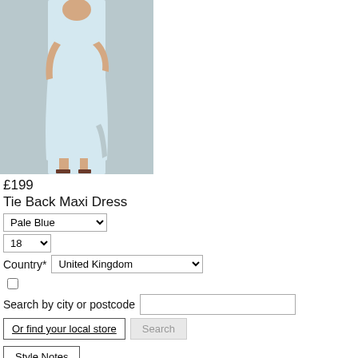[Figure (photo): A model wearing a pale blue tie-back maxi dress with a side slit, paired with brown heeled sandals, against a neutral beige background.]
£199
Tie Back Maxi Dress
Pale Blue (colour dropdown), 18 (size dropdown)
Country* United Kingdom (dropdown)
Search by city or postcode
Or find your local store | Search
Style Notes
Modern and minimal, this maxi dress makes for an effortless statement. Featuring feminine details, including a tie back and